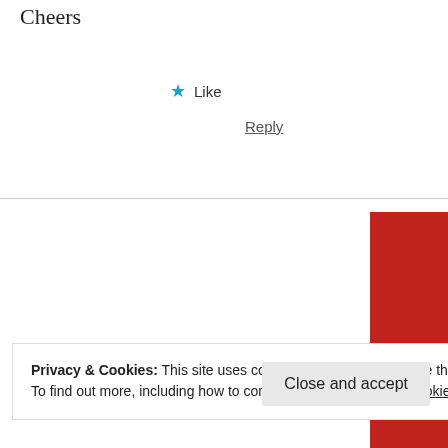Cheers
★ Like
Reply
[Figure (illustration): Longreads advertisement banner with red background. Shows Longreads logo at top, text 'The best stories on the web – ours, and everyone else's.' in white italic serif font, and a black 'Start reading' button.]
Privacy & Cookies: This site uses cookies. By continuing to use this website, you agree to their use.
To find out more, including how to control cookies, see here: Cookie Policy
Close and accept